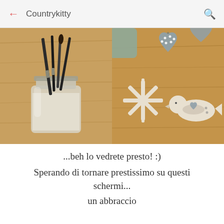Countrykitty
[Figure (photo): Left side: a glass jar with paint brushes and black sticks inside, placed on a wooden surface. Right side: craft wooden shapes on a wooden table — a grey polka-dot heart, a snowflake shape, a bird shape with heart cutout.]
...beh lo vedrete presto! :)
Sperando di tornare prestissimo su questi schermi...
un abbraccio